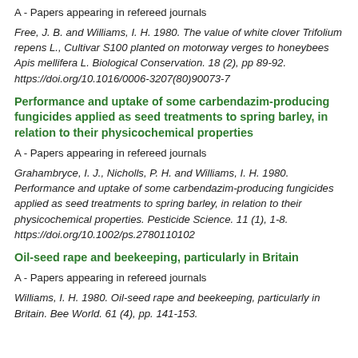A - Papers appearing in refereed journals
Free, J. B. and Williams, I. H. 1980. The value of white clover Trifolium repens L., Cultivar S100 planted on motorway verges to honeybees Apis mellifera L. Biological Conservation. 18 (2), pp 89-92. https://doi.org/10.1016/0006-3207(80)90073-7
Performance and uptake of some carbendazim-producing fungicides applied as seed treatments to spring barley, in relation to their physicochemical properties
A - Papers appearing in refereed journals
Grahambryce, I. J., Nicholls, P. H. and Williams, I. H. 1980. Performance and uptake of some carbendazim-producing fungicides applied as seed treatments to spring barley, in relation to their physicochemical properties. Pesticide Science. 11 (1), 1-8. https://doi.org/10.1002/ps.2780110102
Oil-seed rape and beekeeping, particularly in Britain
A - Papers appearing in refereed journals
Williams, I. H. 1980. Oil-seed rape and beekeeping, particularly in Britain. Bee World. 61 (4), pp. 141-153.